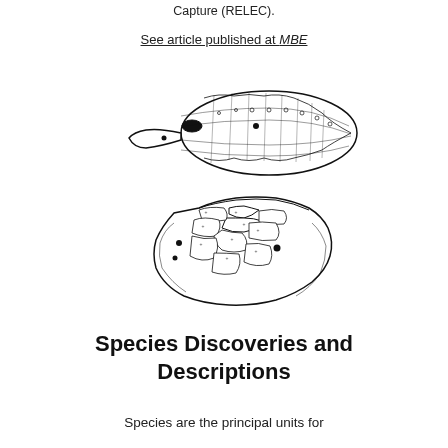Capture (RELEC).
See article published at MBE
[Figure (illustration): Two line-drawing illustrations of a snake head: top view showing lateral/dorsal perspective with scales and eye detail, bottom view showing ventral/top-down perspective with larger head scales labeled.]
Species Discoveries and Descriptions
Species are the principal units for